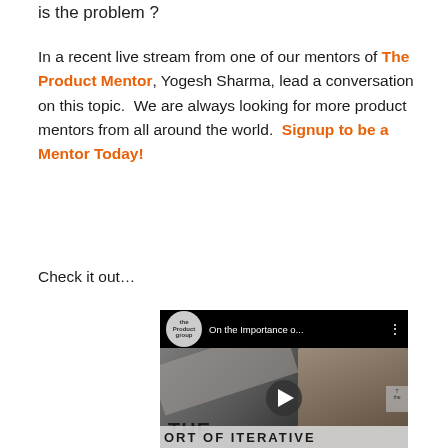is the problem ?
In a recent live stream from one of our mentors of The Product Mentor, Yogesh Sharma, lead a conversation on this topic.  We are always looking for more product mentors from all around the world.  Signup to be a Mentor Today!
Check it out…
[Figure (screenshot): YouTube video player screenshot showing 'On the Importance o...' with a channel logo, and a video thumbnail of a man with text 'THE' and partially visible text 'ORT OF ITERATIVE' at the bottom]